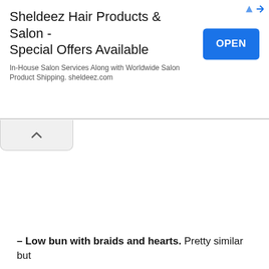[Figure (screenshot): Advertisement banner for Sheldeez Hair Products & Salon showing title 'Sheldeez Hair Products & Salon - Special Offers Available', subtitle 'In-House Salon Services Along with Worldwide Salon Product Shipping. sheldeez.com', and a blue OPEN button on the right. Top-right corner has small ad indicator icons. Below the banner is a collapse tab with an up-arrow chevron.]
– Low bun with braids and hearts. Pretty similar but